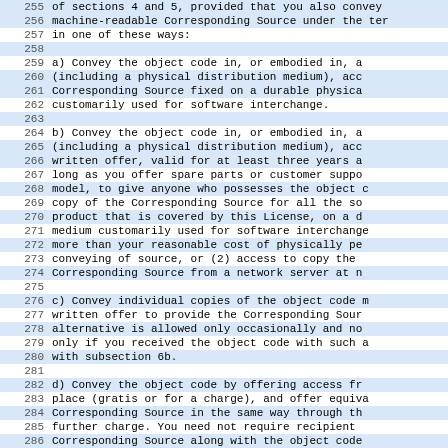255   of sections 4 and 5, provided that you also convey
256   machine-readable Corresponding Source under the ter
257   in one of these ways:
258
259       a) Convey the object code in, or embodied in, a
260       (including a physical distribution medium), acc
261       Corresponding Source fixed on a durable physica
262       customarily used for software interchange.
263
264       b) Convey the object code in, or embodied in, a
265       (including a physical distribution medium), acc
266       written offer, valid for at least three years a
267       long as you offer spare parts or customer suppo
268       model, to give anyone who possesses the object c
269       copy of the Corresponding Source for all the so
270       product that is covered by this License, on a d
271       medium customarily used for software interchange
272       more than your reasonable cost of physically pe
273       conveying of source, or (2) access to copy the
274       Corresponding Source from a network server at n
275
276       c) Convey individual copies of the object code m
277       written offer to provide the Corresponding Sour
278       alternative is allowed only occasionally and no
279       only if you received the object code with such a
280       with subsection 6b.
281
282       d) Convey the object code by offering access fr
283       place (gratis or for a charge), and offer equiva
284       Corresponding Source in the same way through th
285       further charge.  You need not require recipient
286       Corresponding Source along with the object code